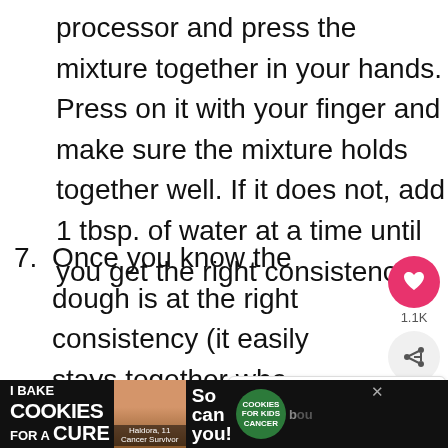processor and press the mixture together in your hands. Press on it with your finger and make sure the mixture holds together well. If it does not, add 1 tbsp. of water at a time until you get the right consistency.
7. Once you know the dough is at the right consistency (it easily stays together when pressed on) you can roll the into energy bites. Take 1-2 tbsp. of mixture in your hand and press it together to form balls. Roll them at the end to ensure they are smooth all around. This will make about
[Figure (other): Social media sidebar with heart/like button showing save icon in pink circle, share count 1.1K, and share button with plus icon]
[Figure (other): What's Next panel showing thumbnail of Vegan Chocolate... recipe with arrow]
[Figure (other): Advertisement banner: I Bake COOKIES For A CURE with Haldora, 11 Cancer Survivor. So can you! with cookies for kids cancer badge.]